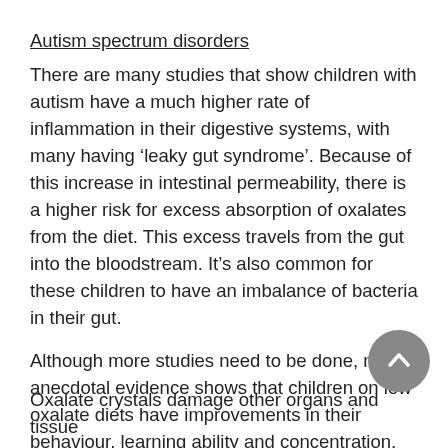Autism spectrum disorders
There are many studies that show children with autism have a much higher rate of inflammation in their digestive systems, with many having ‘leaky gut syndrome’. Because of this increase in intestinal permeability, there is a higher risk for excess absorption of oxalates from the diet. This excess travels from the gut into the bloodstream. It’s also common for these children to have an imbalance of bacteria in their gut.
Although more studies need to be done, much anecdotal evidence shows that children on low oxalate diets have improvements in their behaviour, learning ability and concentration, among other positive claims. A low oxalate diet is certainly worth trying, along with considering other health aspects related to the individual.
Oxalate crystals damage other organs and tissue